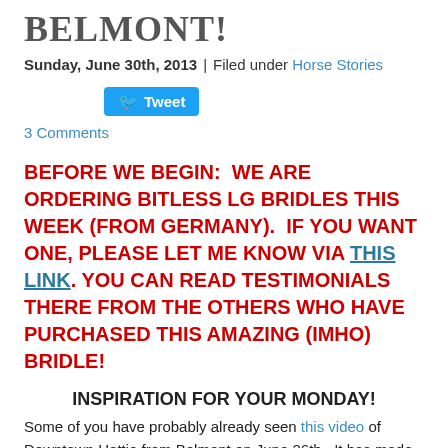BELMONT!
Sunday, June 30th, 2013 | Filed under Horse Stories
[Figure (other): Tweet button (Twitter share button)]
3 Comments
BEFORE WE BEGIN: WE ARE ORDERING BITLESS LG BRIDLES THIS WEEK (FROM GERMANY). IF YOU WANT ONE, PLEASE LET ME KNOW VIA THIS LINK. YOU CAN READ TESTIMONIALS THERE FROM THE OTHERS WHO HAVE PURCHASED THIS AMAZING (IMHO) BRIDLE!
INSPIRATION FOR YOUR MONDAY!
Some of you have probably already seen this video of Downtown Hottie from Belmont on June 26th. It has made